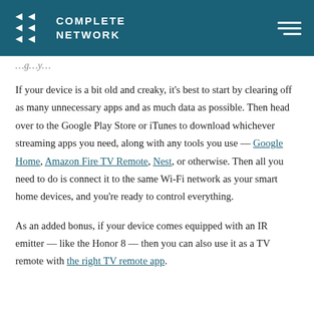Complete Network
If your device is a bit old and creaky, it's best to start by clearing off as many unnecessary apps and as much data as possible. Then head over to the Google Play Store or iTunes to download whichever streaming apps you need, along with any tools you use — Google Home, Amazon Fire TV Remote, Nest, or otherwise. Then all you need to do is connect it to the same Wi-Fi network as your smart home devices, and you're ready to control everything.
As an added bonus, if your device comes equipped with an IR emitter — like the Honor 8 — then you can also use it as a TV remote with the right TV remote app.